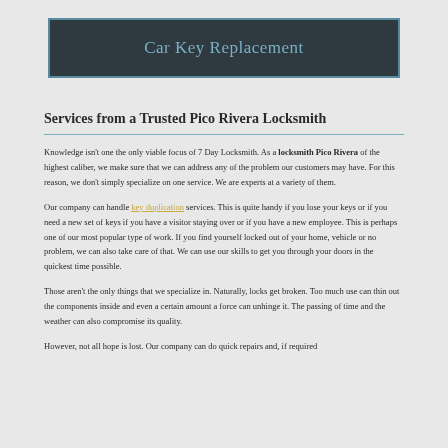Car Key Replacement
Services from a Trusted Pico Rivera Locksmith
Knowledge isn't one the only viable focus of 7 Day Locksmith. As a locksmith Pico Rivera of the highest caliber, we make sure that we can address any of the problem our customers may have. For this reason, we don't simply specialize on one service. We are experts at a variety of them.
Our company can handle key duplication services. This is quite handy if you lose your keys or if you need a new set of keys if you have a visitor staying over or if you have a new employee. This is perhaps one of our most popular type of work. If you find yourself locked out of your home, vehicle or no problem, we can also take care of that. We can use our skills to get you through your doors in the quickest time possible.
Those aren't the only things that we specialize in. Naturally, locks get broken. Too much use can thin out the components inside and even a certain amount a force can unhinge it. The passing of time and the weather can also compromise its quality.
However, not all hope is lost. Our company can do quick repairs and, if required